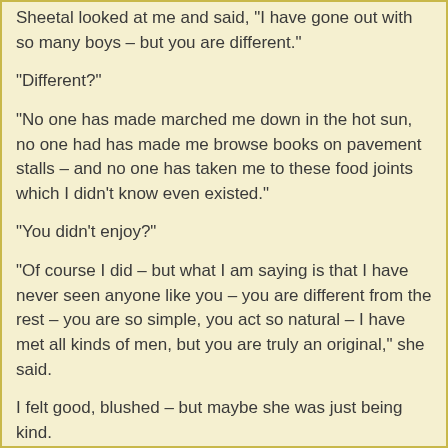Sheetal looked at me and said, "I have gone out with so many boys – but you are different."
"Different?"
"No one has made marched me down in the hot sun, no one had has made me browse books on pavement stalls – and no one has taken me to these food joints which I didn't know even existed."
"You didn't enjoy?"
"Of course I did – but what I am saying is that I have never seen anyone like you – you are different from the rest – you are so simple, you act so natural – I have met all kinds of men, but you are truly an original," she said.
I felt good, blushed – but maybe she was just being kind.
We strolled in Fort, window shopping.
I lost all track of time.
The day had passed in a haze of delight – for the first time in my life I had experienced the joy the company of a girl can